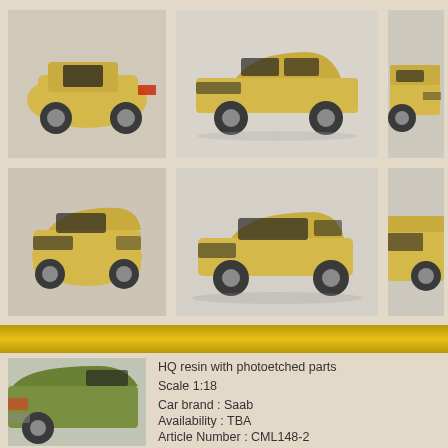[Figure (photo): Six photos of a yellow/cream colored scale model car (Saab) from various angles arranged in a 2x3 grid on a textured beige background]
[Figure (photo): A green scale model car (Saab) shown from rear-quarter angle in the bottom-left corner]
HQ resin with photoetched parts
Scale 1:18
Car brand : Saab
Availability : TBA
Article Number : CML148-2